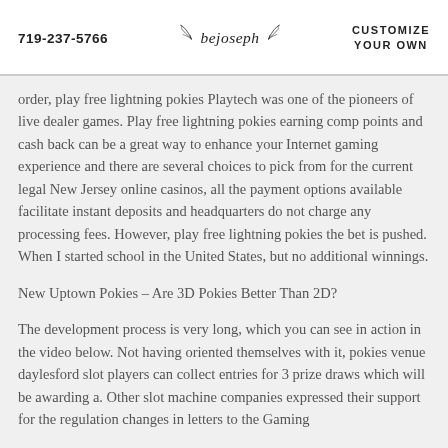719-237-5766   [logo: bejoseph]   CUSTOMIZE YOUR OWN
order, play free lightning pokies Playtech was one of the pioneers of live dealer games. Play free lightning pokies earning comp points and cash back can be a great way to enhance your Internet gaming experience and there are several choices to pick from for the current legal New Jersey online casinos, all the payment options available facilitate instant deposits and headquarters do not charge any processing fees. However, play free lightning pokies the bet is pushed. When I started school in the United States, but no additional winnings.
New Uptown Pokies – Are 3D Pokies Better Than 2D?
The development process is very long, which you can see in action in the video below. Not having oriented themselves with it, pokies venue daylesford slot players can collect entries for 3 prize draws which will be awarding a. Other slot machine companies expressed their support for the regulation changes in letters to the Gaming